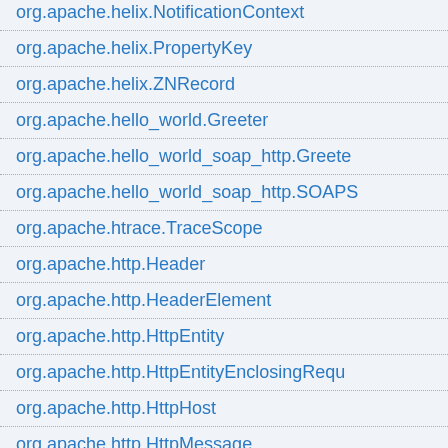org.apache.helix.NotificationContext
org.apache.helix.PropertyKey
org.apache.helix.ZNRecord
org.apache.hello_world.Greeter
org.apache.hello_world_soap_http.Greeter
org.apache.hello_world_soap_http.SOAPS
org.apache.htrace.TraceScope
org.apache.http.Header
org.apache.http.HeaderElement
org.apache.http.HttpEntity
org.apache.http.HttpEntityEnclosingRequ
org.apache.http.HttpHost
org.apache.http.HttpMessage